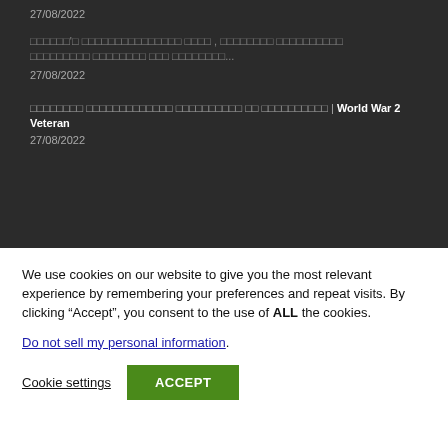27/08/2022
□□□□□□'s □□□□□□□□□□□□□□□ □□□□ , □□□□□□□□ □□□□□□□□□□ □□□□□□□□□ □□□□□□□□ □□□ □□□□□□□□...
27/08/2022
□□□□□□□□ □□□□□□□□□□□□□ □□□□□□□□□□ □□ □□□□□□□□□□ | World War 2 Veteran
27/08/2022
We use cookies on our website to give you the most relevant experience by remembering your preferences and repeat visits. By clicking “Accept”, you consent to the use of ALL the cookies.
Do not sell my personal information.